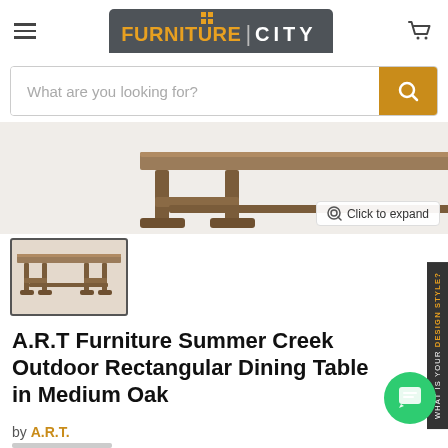[Figure (logo): Furniture City logo with orange FURNITURE text and white CITY text on dark grey background]
What are you looking for?
[Figure (photo): A.R.T Furniture Summer Creek Outdoor Rectangular Dining Table in Medium Oak — main product image showing tabletop and trestle base]
Click to expand
[Figure (photo): Thumbnail image of the dining table showing full side view with trestle base]
A.R.T Furniture Summer Creek Outdoor Rectangular Dining Table in Medium Oak
by A.R.T.